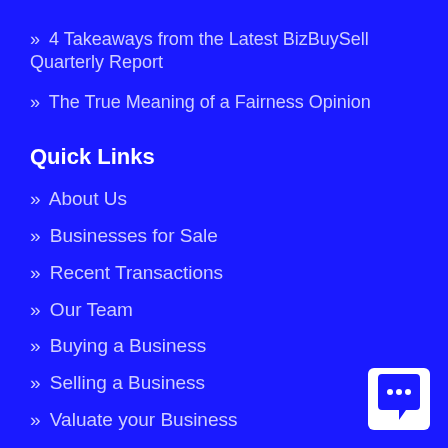» 4 Takeaways from the Latest BizBuySell Quarterly Report
» The True Meaning of a Fairness Opinion
Quick Links
» About Us
» Businesses for Sale
» Recent Transactions
» Our Team
» Buying a Business
» Selling a Business
» Valuate your Business
[Figure (logo): Chat widget icon in bottom right corner — white chat bubble with three dots on a white square background]